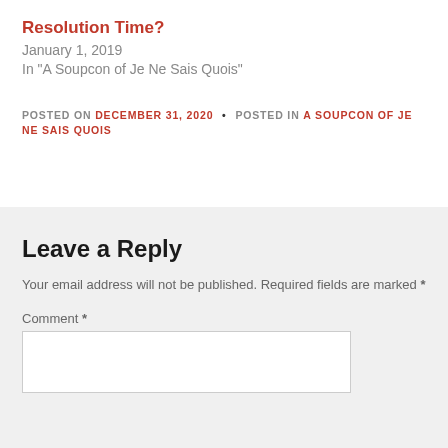Resolution Time?
January 1, 2019
In "A Soupcon of Je Ne Sais Quois"
POSTED ON DECEMBER 31, 2020 • POSTED IN A SOUPCON OF JE NE SAIS QUOIS
Leave a Reply
Your email address will not be published. Required fields are marked *
Comment *